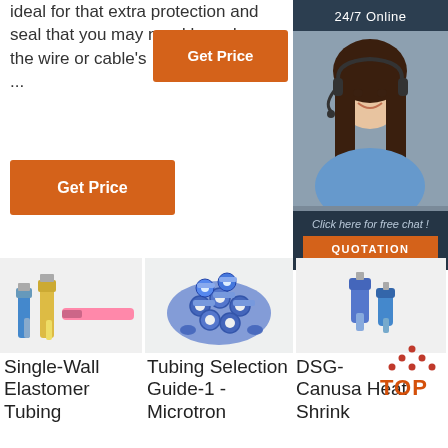ideal for that extra protection and seal that you may need based on the wire or cable's ...
[Figure (other): Orange 'Get Price' button (top right)]
[Figure (other): Orange 'Get Price' button (left side)]
[Figure (other): Sidebar: 24/7 Online chat widget with woman wearing headset, 'Click here for free chat!' text, and QUOTATION button]
[Figure (photo): Product photo: Single-Wall Elastomer Tubing connectors (blue, yellow, pink heat shrink terminals)]
[Figure (photo): Product photo: Tubing Selection Guide-1 - Microtron (pile of blue ring terminals)]
[Figure (photo): Product photo: DSG-Canusa Heat Shrink (small blue connectors)]
Single-Wall Elastomer Tubing
Tubing Selection Guide-1 - Microtron
DSG-Canusa Heat Shrink
[Figure (logo): TOP logo with orange dots arranged in triangle above the word TOP in orange]